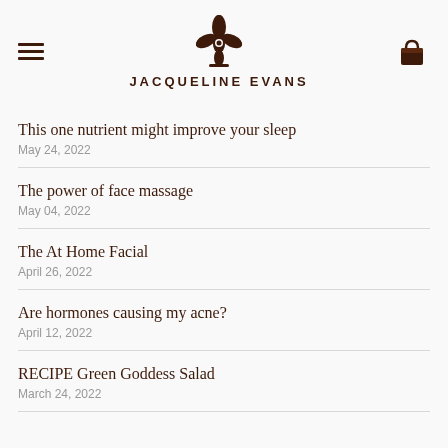JACQUELINE EVANS
This one nutrient might improve your sleep
May 24, 2022
The power of face massage
May 04, 2022
The At Home Facial
April 26, 2022
Are hormones causing my acne?
April 12, 2022
RECIPE Green Goddess Salad
March 24, 2022